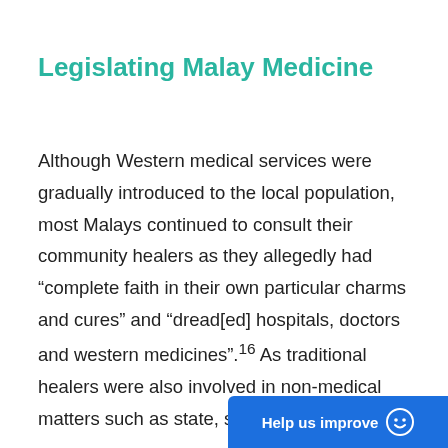Legislating Malay Medicine
Although Western medical services were gradually introduced to the local population, most Malays continued to consult their community healers as they allegedly had “complete faith in their own particular charms and cures” and “dread[ed] hospitals, doctors and western medicines”.16 As traditional healers were also involved in non-medical matters such as state, soci